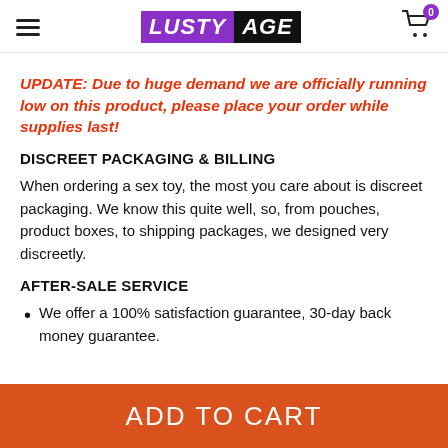LUSTY AGE
UPDATE: Due to huge demand we are officially running low on this product, please place your order while supplies last!
DISCREET PACKAGING & BILLING
When ordering a sex toy, the most you care about is discreet packaging. We know this quite well, so, from pouches, product boxes, to shipping packages, we designed very discreetly.
AFTER-SALE SERVICE
We offer a 100% satisfaction guarantee, 30-day back money guarantee.
ADD TO CART